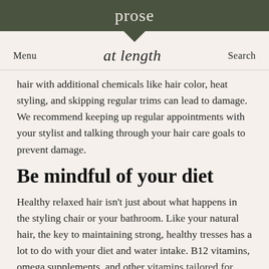prose
Menu   at length   Search
hair with additional chemicals like hair color, heat styling, and skipping regular trims can lead to damage. We recommend keeping up regular appointments with your stylist and talking through your hair care goals to prevent damage.
Be mindful of your diet
Healthy relaxed hair isn't just about what happens in the styling chair or your bathroom. Like your natural hair, the key to maintaining strong, healthy tresses has a lot to do with your diet and water intake. B12 vitamins, omega supplements, and other vitamins tailored for healthy hair, skin, and nails can work